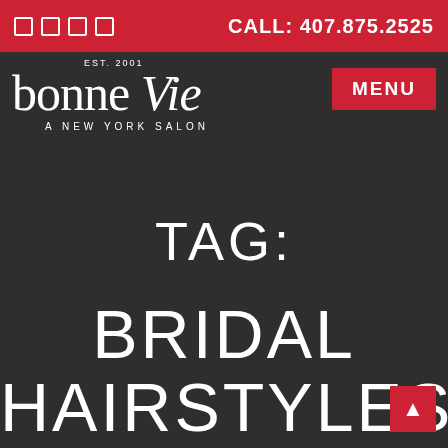CALL: 407.875.2525
[Figure (logo): Bonne Vie A New York Salon logo in white serif font on dark background]
MENU
TAG:
BRIDAL HAIRSTYLES